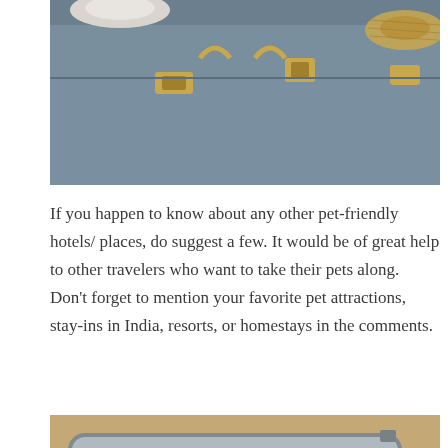[Figure (photo): Close-up photo of a blue/grey vintage suitcase with gold latches and handles, with a white cat peeking out from inside and a straw hat visible on the right side]
If you happen to know about any other pet-friendly hotels/ places, do suggest a few. It would be of great help to other travelers who want to take their pets along. Don't forget to mention your favorite pet attractions, stay-ins in India, resorts, or homestays in the comments.
[Figure (photo): Overhead photo of an open grey suitcase on a wooden floor containing three cats — a tabby cat and two white cats — snuggled inside, with a plaid blanket and other items around the suitcase]